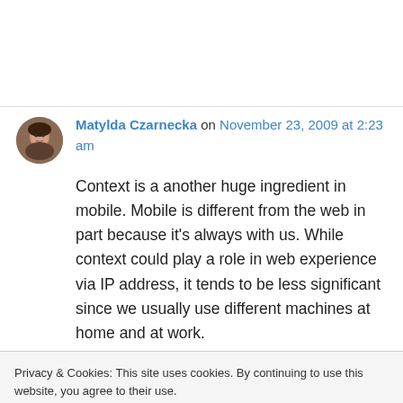Matylda Czarnecka on November 23, 2009 at 2:23 am
Context is a another huge ingredient in mobile. Mobile is different from the web in part because it's always with us. While context could play a role in web experience via IP address, it tends to be less significant since we usually use different machines at home and at work.
Privacy & Cookies: This site uses cookies. By continuing to use this website, you agree to their use.
To find out more, including how to control cookies, see here: Cookie Policy